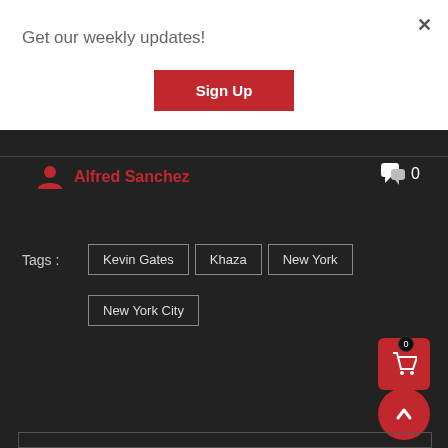Get our weekly updates!
Sign Up
× (close button)
Alfred Sanchez
0
Tags :
Kevin Gates
Khaza
New York
New York City